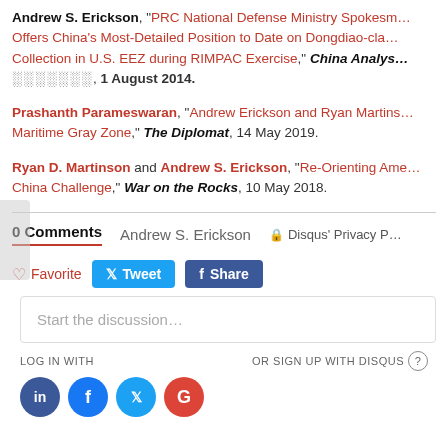Andrew S. Erickson, "PRC National Defense Ministry Spokesman Offers China's Most-Detailed Position to Date on Dongdiao-class Collection in U.S. EEZ during RIMPAC Exercise," China Analysis, 1 August 2014.
Prashanth Parameswaran, "Andrew Erickson and Ryan Martinson on Maritime Gray Zone," The Diplomat, 14 May 2019.
Ryan D. Martinson and Andrew S. Erickson, "Re-Orienting America's China Challenge," War on the Rocks, 10 May 2018.
0 Comments    Andrew S. Erickson    Disqus' Privacy P
Favorite  Tweet  Share
Start the discussion…
LOG IN WITH
OR SIGN UP WITH DISQUS